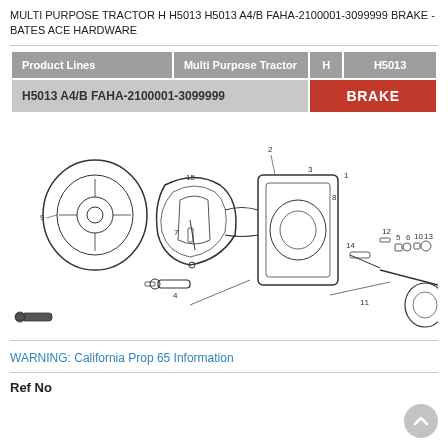MULTI PURPOSE TRACTOR H H5013 H5013 A4/B FAHA-2100001-3099999 BRAKE - BATES ACE HARDWARE
| Product Lines | Multi Purpose Tractor | H | H5013 |
| --- | --- | --- | --- |
| H5013 A4/B FAHA-2100001-3099999 |  |  | BRAKE |
[Figure (engineering-diagram): Exploded parts diagram of a tractor brake assembly showing numbered components including brake drum (9), brake shoes, springs (7), brake plate (1, 3, 8), bolts (14), cable (11), and small hardware components (5, 6, 10, 12, 13). Parts are numbered 1-15 with leader lines.]
WARNING: California Prop 65 Information
Ref No